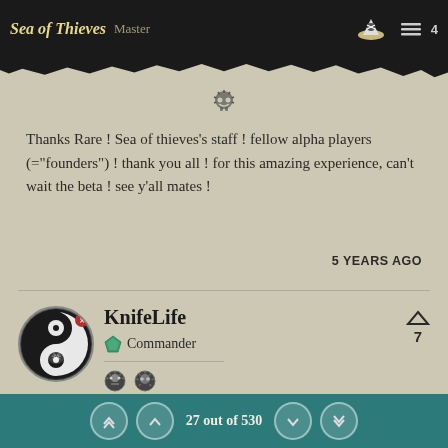Sea of Thieves Master
Thanks Rare ! Sea of thieves's staff ! fellow alpha players (="founders") ! thank you all ! for this amazing experience, can't wait the beta ! see y'all mates !
5 YEARS AGO
KnifeLife
Commander
27 out of 530